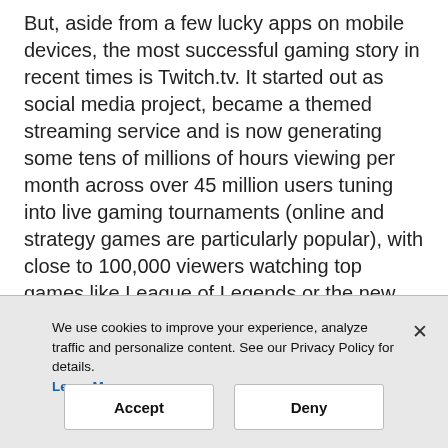But, aside from a few lucky apps on mobile devices, the most successful gaming story in recent times is Twitch.tv. It started out as social media project, became a themed streaming service and is now generating some tens of millions of hours viewing per month across over 45 million users tuning into live gaming tournaments (online and strategy games are particularly popular), with close to 100,000 viewers watching top games like League of Legends or the new Grand Theft Auto 5 in action at once.
[Figure (photo): Partial view of a gaming-related image, partially obscured by cookie consent banner]
We use cookies to improve your experience, analyze traffic and personalize content. See our Privacy Policy for details. Learn More
Accept
Deny